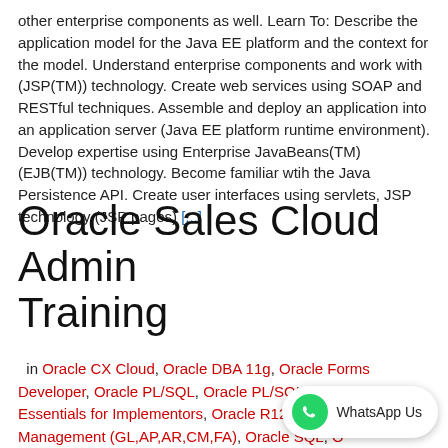other enterprise components as well. Learn To: Describe the application model for the Java EE platform and the context for the model. Understand enterprise components and work with (JSP(TM)) technology. Create web services using SOAP and RESTful techniques. Assemble and deploy an application into an application server (Java EE platform runtime environment). Develop expertise using Enterprise JavaBeans(TM) (EJB(TM)) technology. Become familiar wtih the Java Persistence API. Create user interfaces using servlets, JSP technology (JSP pages) [...]
Oracle Sales Cloud Admin Training
in Oracle CX Cloud, Oracle DBA 11g, Oracle Forms Developer, Oracle PL/SQL, Oracle PL/SQL, Oracle R12 Essentials for Implementors, Oracle R12 Financials Management (GL,AP,AR,CM,FA), Oracle SQL, ...